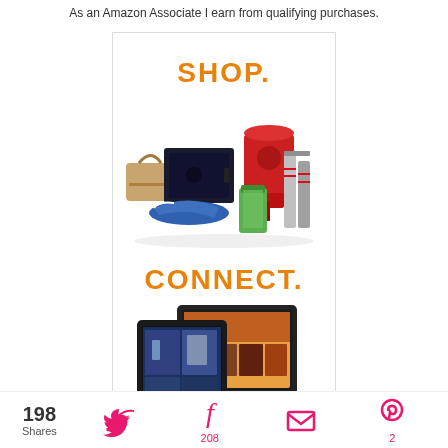As an Amazon Associate I earn from qualifying purchases.
[Figure (illustration): Amazon Associates advertisement banner showing SHOP. text with products (gaming console, shoes, kitchen mixer, blender, books), CONNECT. text with Kindle Fire tablets, and ENJOY. text with movie content]
198 Shares
[Figure (infographic): Social sharing bar with Twitter icon (no count), Facebook icon with 208 count, email/envelope icon, and Pinterest icon with count of 2]